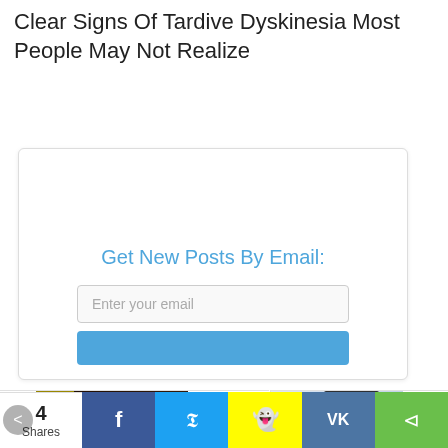Clear Signs Of Tardive Dyskinesia Most People May Not Realize
Get New Posts By Email:
[Figure (screenshot): Email subscription widget with 'Enter your email' input field and subscribe button]
[Figure (screenshot): Ad banner showing man in casino with text '3 Ste To']
[Figure (screenshot): Ad banner showing person with back pain and text 'Sym Of']
4 Shares | Facebook | Twitter | Snapchat | VK | Share